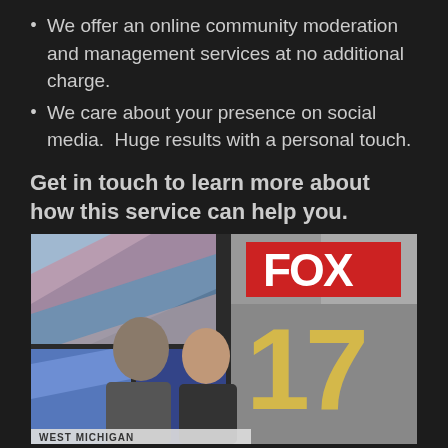We offer an online community moderation and management services at no additional charge.
We care about your presence on social media.  Huge results with a personal touch.
Get in touch to learn more about how this service can help you.
[Figure (photo): Two people posing in front of Fox 17 West Michigan TV studio backdrop with colorful diagonal design elements and Fox 17 logo visible.]